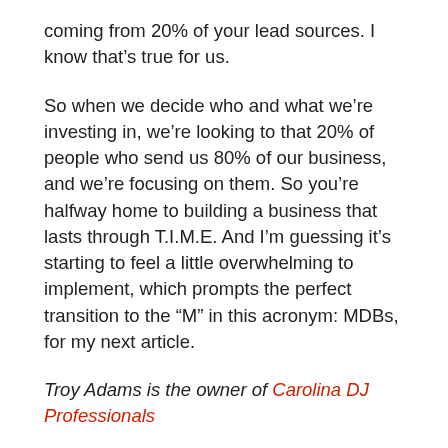coming from 20% of your lead sources. I know that’s true for us.
So when we decide who and what we’re investing in, we’re looking to that 20% of people who send us 80% of our business, and we’re focusing on them. So you’re halfway home to building a business that lasts through T.I.M.E. And I’m guessing it’s starting to feel a little overwhelming to implement, which prompts the perfect transition to the “M” in this acronym: MDBs, for my next article.
Troy Adams is the owner of Carolina DJ Professionals